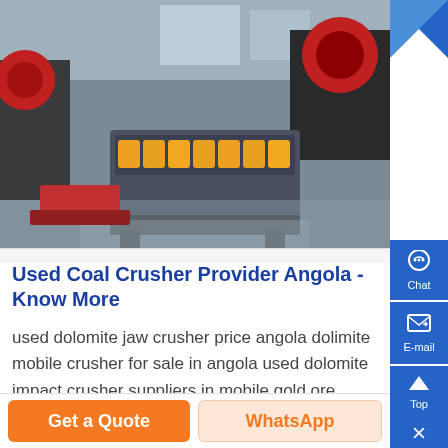[Figure (photo): Industrial crusher machinery in a factory setting, showing heavy equipment with orange/yellow rolling components on a metal floor]
Used Coal Crusher Provider Angola - Know More
used dolomite jaw crusher price angola dolimite mobile crusher for sale in angola used dolomite impact crusher suppliers in mobile gold ore impact crusher price angola items 126 150 of 226 mobile coal crusher manufacturer angola delhi book can get the price list and used iron o...
Get a Quote
WhatsApp